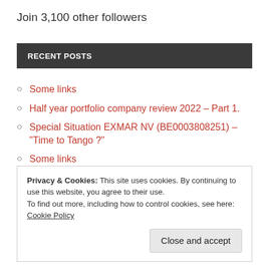Join 3,100 other followers
RECENT POSTS
Some links
Half year portfolio company review 2022 – Part 1.
Special Situation EXMAR NV (BE0003808251) – “Time to Tango ?”
Some links
Admiral Plc – Deep Dive and Re-underwriting the Stock
Privacy & Cookies: This site uses cookies. By continuing to use this website, you agree to their use.
To find out more, including how to control cookies, see here: Cookie Policy
Close and accept